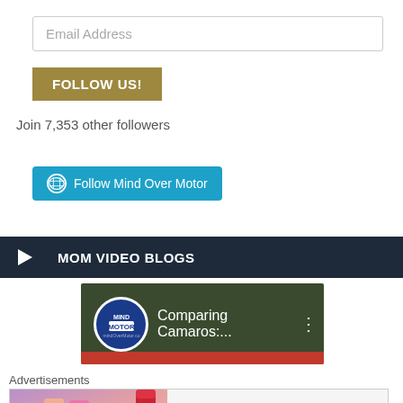Email Address
FOLLOW US!
Join 7,353 other followers
[Figure (other): Follow Mind Over Motor button — teal/blue WordPress follow button]
MOM VIDEO BLOGS
[Figure (screenshot): YouTube video thumbnail showing Mind Over Motor logo and title 'Comparing Camaros:...' with dark forest background]
Advertisements
[Figure (other): M·A·C cosmetics advertisement banner with lipsticks and SHOP NOW button]